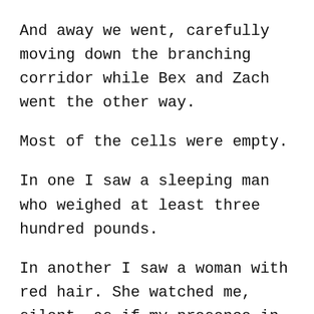And away we went, carefully moving down the branching corridor while Bex and Zach went the other way.
Most of the cells were empty.
In one I saw a sleeping man who weighed at least three hundred pounds.
In another I saw a woman with red hair. She watched me, silent, as if my presence in her window were completely routine.
“Here!” Macey said. She was reaching for